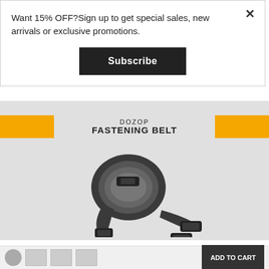Want 15% OFF?Sign up to get special sales, new arrivals or exclusive promotions.
Subscribe
[Figure (photo): Product photo of DOZOP Fastening Belt — black nylon strap coiled and arranged on a light gray background, with plastic buckle clips visible. Orange accent bars flank a banner reading DOZOP FASTENING BELT.]
[Figure (photo): Partial bottom bar showing a circular thumbnail, small square thumbnail images, and an Add to Cart button.]